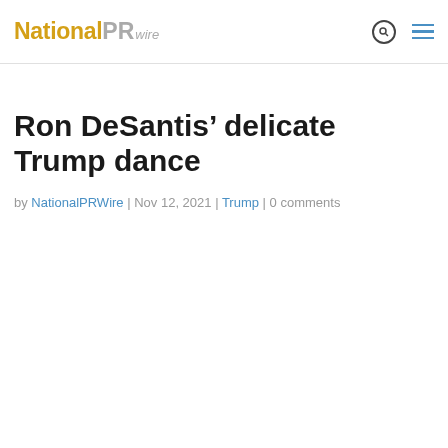National PR wire
Ron DeSantis’ delicate Trump dance
by NationalPRWire | Nov 12, 2021 | Trump | 0 comments